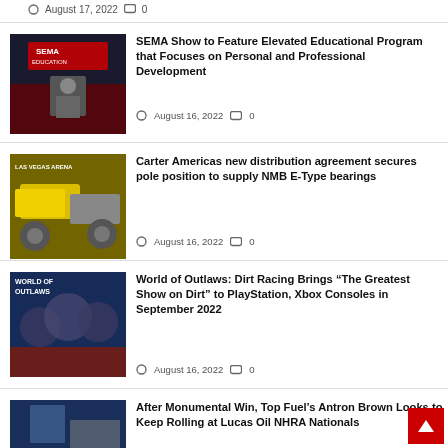August 17, 2022   0
SEMA Show to Feature Elevated Educational Program that Focuses on Personal and Professional Development
August 16, 2022   0
Carter Americas new distribution agreement secures pole position to supply NMB E-Type bearings
August 16, 2022   0
World of Outlaws: Dirt Racing Brings "The Greatest Show on Dirt" to PlayStation, Xbox Consoles in September 2022
August 16, 2022   0
After Monumental Win, Top Fuel's Antron Brown Looks to Keep Rolling at Lucas Oil NHRA Nationals